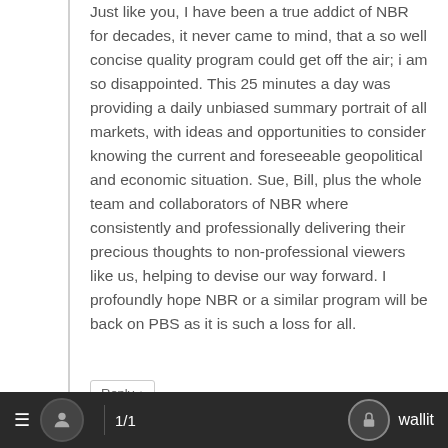Just like you, I have been a true addict of NBR for decades, it never came to mind, that a so well concise quality program could get off the air; i am so disappointed. This 25 minutes a day was providing a daily unbiased summary portrait of all markets, with ideas and opportunities to consider knowing the current and foreseeable geopolitical and economic situation. Sue, Bill, plus the whole team and collaborators of NBR where consistently and professionally delivering their precious thoughts to non-professional viewers like us, helping to devise our way forward. I profoundly hope NBR or a similar program will be back on PBS as it is such a loss for all.
Reply ↓
Derick Warner
≡  1/1  wallit